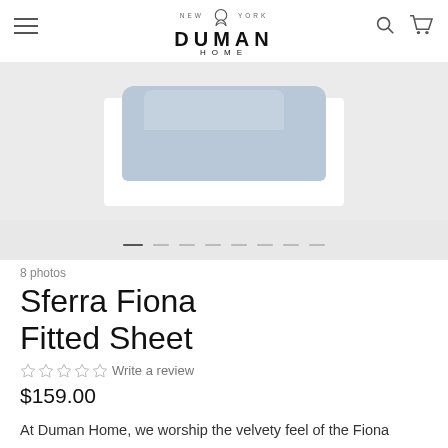NEW YORK DUMAN HOME
[Figure (photo): Product photo of a light blue/periwinkle fitted sheet folded neatly, displayed against a white background on a light gray product image carousel with dot navigation indicators at bottom.]
8 photos
Sferra Fiona Fitted Sheet
Write a review
$159.00
At Duman Home, we worship the velvety feel of the Fiona Fitted Sheet. Its sateen fabrication possesses an exquisite, silky-soft texture that this type of weave is known for. The pinnacle of luxury